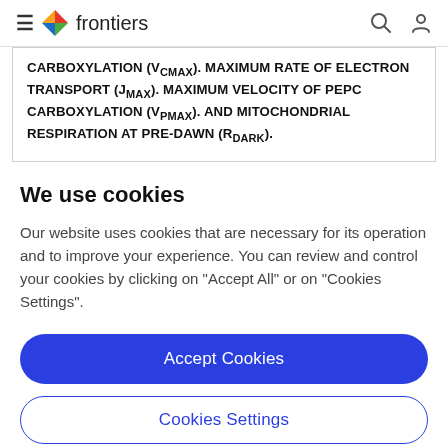frontiers
CARBOXYLATION (VCMAX). MAXIMUM RATE OF ELECTRON TRANSPORT (JMAX). MAXIMUM VELOCITY OF PEPC CARBOXYLATION (VPMAX). AND MITOCHONDRIAL RESPIRATION AT PRE-DAWN (RDARK).
We use cookies
Our website uses cookies that are necessary for its operation and to improve your experience. You can review and control your cookies by clicking on "Accept All" or on "Cookies Settings".
Accept Cookies
Cookies Settings